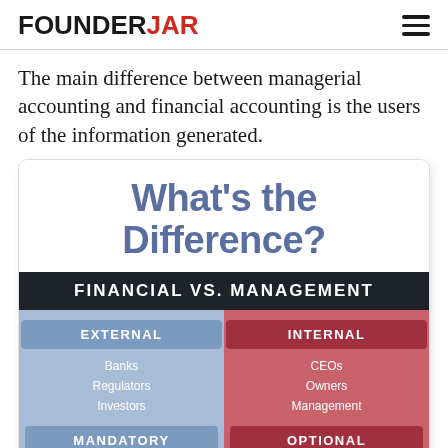FOUNDERJAR
The main difference between managerial accounting and financial accounting is the users of the information generated.
[Figure (infographic): Infographic titled 'What's the Difference?' comparing Financial vs. Management accounting. Left (blue) column shows EXTERNAL users: Banks, Regulators, Investors; MANDATORY. Right (red) column shows INTERNAL users: CEOs, Owners, Management; OPTIONAL.]